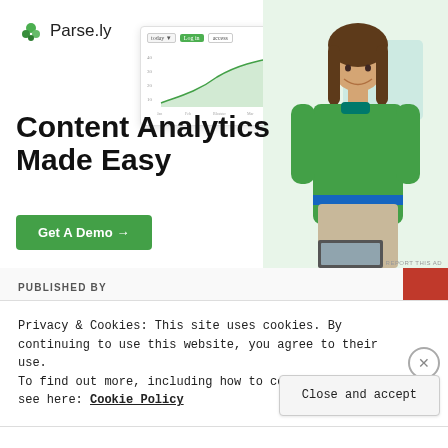[Figure (screenshot): Parse.ly logo with green leaf icon and company name]
[Figure (screenshot): Parse.ly analytics dashboard widget showing a line chart with a green area chart, with toolbar showing 'today', green button, and another control]
[Figure (photo): Woman in green sweater smiling, standing in an office setting with a laptop]
Content Analytics Made Easy
Get A Demo →
REPORT THIS AD
PUBLISHED BY
Privacy & Cookies: This site uses cookies. By continuing to use this website, you agree to their use.
To find out more, including how to control cookies, see here: Cookie Policy
Close and accept